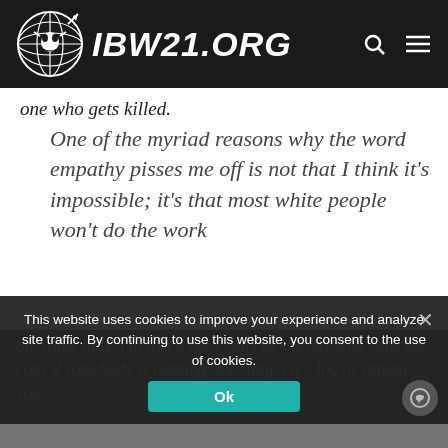IBW21.ORG
one who gets killed.
One of the myriad reasons why the word empathy pisses me off is not that I think it’s impossible; it’s that most white people won’t do the work
So, white lady, I’m sorry, but I can’t be the guy who calls the cops if somebody is robbing, shooting, [stabbing] or raping you.
This website uses cookies to improve your experience and analyze site traffic. By continuing to use this website, you consent to the use of cookies.